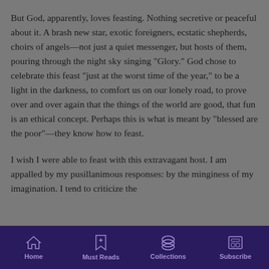But God, apparently, loves feasting. Nothing secretive or peaceful about it. A brash new star, exotic foreigners, ecstatic shepherds, choirs of angels—not just a quiet messenger, but hosts of them, pouring through the night sky singing "Glory." God chose to celebrate this feast "just at the worst time of the year," to be a light in the darkness, to comfort us on our lonely road, to prove over and over again that the things of the world are good, that fun is an ethical concept. Perhaps this is what is meant by "blessed are the poor"—they know how to feast.
I wish I were able to feast with this extravagant host. I am appalled by my pusillanimous responses: by the minginess of my imagination. I tend to criticize the
Home  Must Reads  Collections  Subscribe